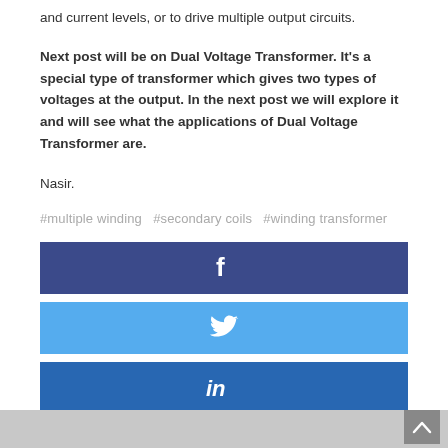and current levels, or to drive multiple output circuits.
Next post will be on Dual Voltage Transformer. It's a special type of transformer which gives two types of voltages at the output. In the next post we will explore it and will see what the applications of Dual Voltage Transformer are.
Nasir.
#multiple winding  #secondary coils  #winding transformer
[Figure (other): Facebook share button (dark blue bar with white 'f' icon)]
[Figure (other): Twitter share button (light blue bar with white bird icon)]
[Figure (other): LinkedIn share button (medium blue bar with white 'in' icon)]